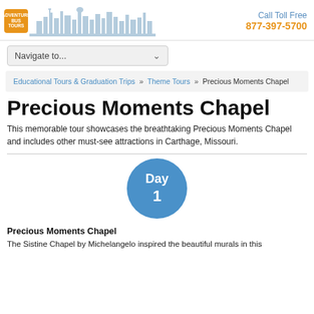[Figure (logo): Adventure Bus logo with orange badge and city skyline graphic, with 'Call Toll Free 877-397-5700' on the right]
Navigate to...
Educational Tours & Graduation Trips » Theme Tours » Precious Moments Chapel
Precious Moments Chapel
This memorable tour showcases the breathtaking Precious Moments Chapel and includes other must-see attractions in Carthage, Missouri.
[Figure (infographic): Blue circle with white text reading 'Day 1']
Precious Moments Chapel
The Sistine Chapel by Michelangelo inspired the beautiful murals in this